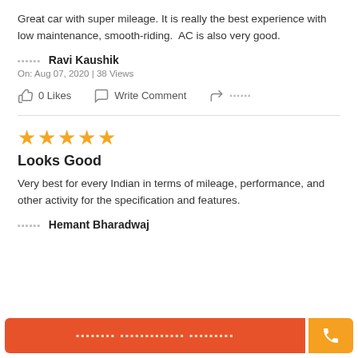Great car with super mileage. It is really the best experience with low maintenance, smooth-riding.  AC is also very good.
▪▪▪▪▪▪ Ravi Kaushik
On: Aug 07, 2020 | 38 Views
0 Likes   Write Comment   ▪▪▪▪▪▪
[Figure (other): Star rating: 4 filled orange stars]
Looks Good
Very best for every Indian in terms of mileage, performance, and other activity for the specification and features.
▪▪▪▪▪▪ Hemant Bharadwaj
▪▪▪▪▪▪▪▪ ▪▪▪▪▪▪▪▪▪▪▪▪▪ ▪▪▪▪▪▪▪▪▪